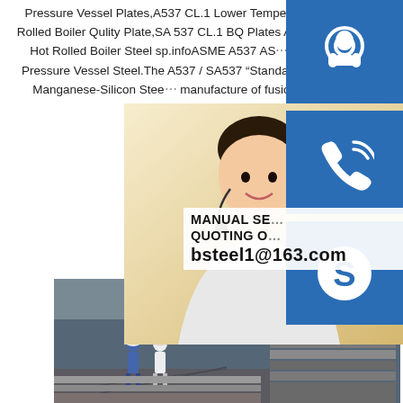Pressure Vessel Plates,A537 CL.1 Lower Temperature Carbon Steel Plate,SA537 Class 1 Hot Rolled Boiler Qulity Plate,SA 537 CL.1 BQ Plates Available in Ready Stock of ASME SA537 CL.1 Hot Rolled Boiler Steel sp.infoASME A537 AS... McFarlaneAbout ASME SA537 Class 1 a... Pressure Vessel Steel.The A537 / SA537 “Standard Specification for Pressure Treated,Carbon-Manganese-Silicon Stee... manufacture of fusion welded pressure ve... material under this specification is ava...
[Figure (photo): Customer service representative woman with headset, sitting in front of yellow background, with blue icon buttons for headset, phone, and Skype on the right side]
[Figure (photo): Factory floor showing workers and large steel plates in an industrial warehouse]
READ MORE
MANUAL SE... QUOTING O... bsteel1@163.com